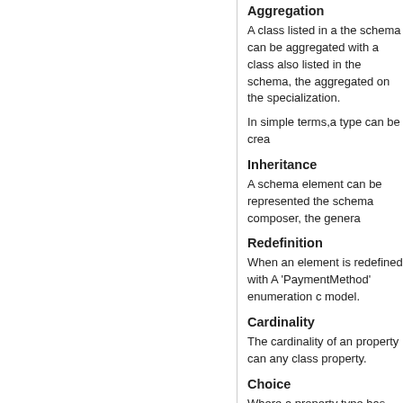Aggregation
A class listed in a the schema can be aggregated with a class also listed in the schema, the aggregated on the specialization.
In simple terms,a type can be crea
Inheritance
A schema element can be represented the schema composer, the genera
Redefinition
When an element is redefined with A 'PaymentMethod' enumeration c model.
Cardinality
The cardinality of an property can any class property.
Choice
Where a property type has special the property and choose the restri
Any specialization that has been a
Style
T